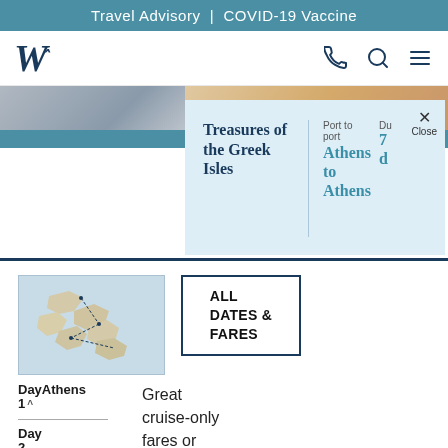Travel Advisory  |  COVID-19 Vaccine
[Figure (logo): Windstar Cruises stylized W logo]
Treasures of the Greek Isles
Port to port  Athens to Athens
Du 7 d
× Close
[Figure (map): Map of Greece showing cruise route through Greek Isles]
ALL DATES & FARES
DayAthens 1
Day 2
Great cruise-only fares or make it an